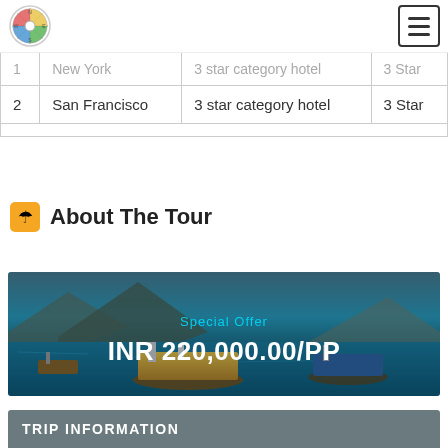Travel company logo and navigation
| # | City | Hotel Category | Room Type |
| --- | --- | --- | --- |
| 1 | New York | 3 star category hotel | 3 Star |
| 2 | San Francisco | 3 star category hotel | 3 Star |
About The Tour
[Figure (photo): Harbor scene with colorful boats, fishing vessels in blue water with mountains in background. Special Offer banner overlay with price INR 220,000.00/PP]
Special Offer
INR 220,000.00/PP
TRIP INFORMATION